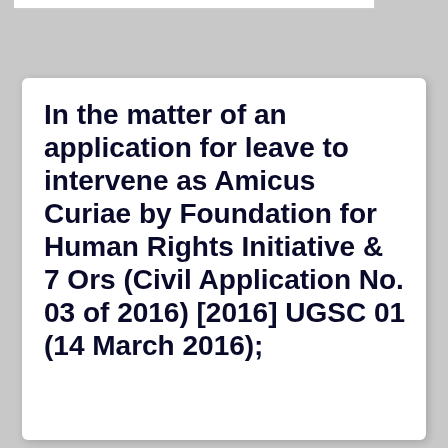In the matter of an application for leave to intervene as Amicus Curiae by Foundation for Human Rights Initiative & 7 Ors (Civil Application No. 03 of 2016) [2016] UGSC 01 (14 March 2016);
Share / Save
| Headnote and flynote | Full judgment |  |
| --- | --- | --- |